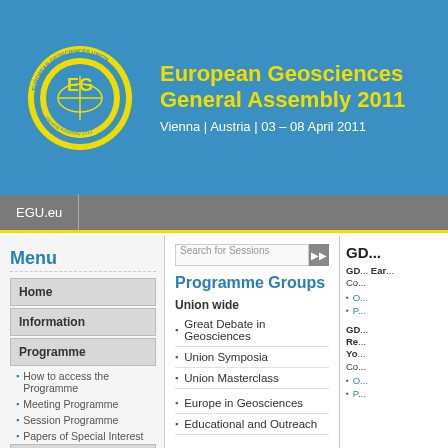[Figure (logo): European Geosciences Union circular logo in yellow and blue]
European Geosciences Union General Assembly 2011
Vienna | Austria | 03 – 08 April 2011
EGU.eu
Menu
Home
Information
Programme
How to access the Programme
Meeting Programme
Session Programme
Papers of Special Interest
Webstreaming
Geospots Vienna
Exhibition
Programme Groups
Union wide
Great Debate in Geosciences
Union Symposia
Union Masterclass
Europe in Geosciences
Educational and Outreach
GD...
GD...